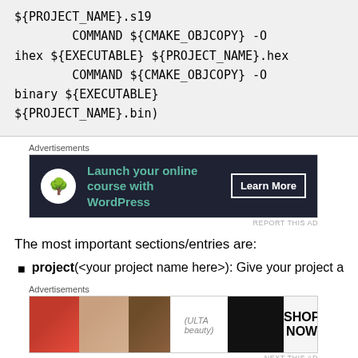${PROJECT_NAME}.s19
        COMMAND ${CMAKE_OBJCOPY} -O ihex ${EXECUTABLE} ${PROJECT_NAME}.hex
        COMMAND ${CMAKE_OBJCOPY} -O binary ${EXECUTABLE} ${PROJECT_NAME}.bin)
[Figure (other): Advertisement banner: Launch your online course with WordPress - Learn More]
The most important sections/entries are:
project(<your project name here>): Give your project a
[Figure (other): Advertisement banner: Ulta Beauty - Shop Now]